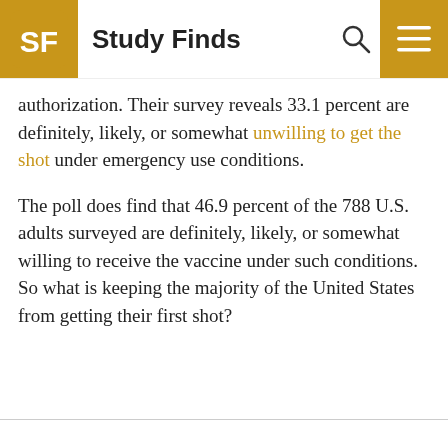Study Finds
authorization. Their survey reveals 33.1 percent are definitely, likely, or somewhat unwilling to get the shot under emergency use conditions.
The poll does find that 46.9 percent of the 788 U.S. adults surveyed are definitely, likely, or somewhat willing to receive the vaccine under such conditions. So what is keeping the majority of the United States from getting their first shot?